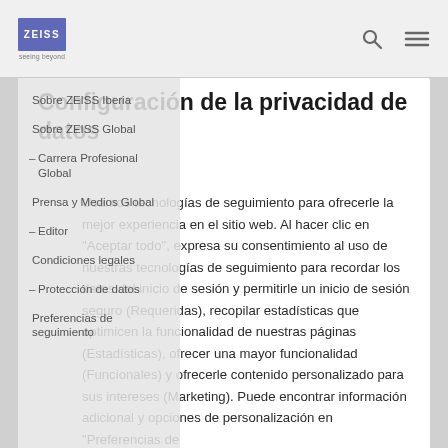[Figure (logo): ZEISS logo with blue/purple background and 'seeing beyond' tagline]
Configuración de la privacidad de datos
Sobre ZEISS Iberia
Sobre ZEISS Global
Carrera Profesional Global
Prensa y Medios Global
Editor
Condiciones legales
Protección de datos
Preferencias de seguimiento
Usamos tecnologías de seguimiento para ofrecerle la mejor experiencia en el sitio web. Al hacer clic en "Aceptar todo", expresa su consentimiento al uso de nuestras tecnologías de seguimiento para recordar los datos del inicio de sesión y permitirle un inicio de sesión seguro (Requeridas), recopilar estadísticas que optimicen la funcionalidad de nuestras páginas (Estadísticas), ofrecer una mayor funcionalidad (Funcionales) y ofrecerle contenido personalizado para sus intereses (Marketing). Puede encontrar información adicional y opciones de personalización en "Preferencias de